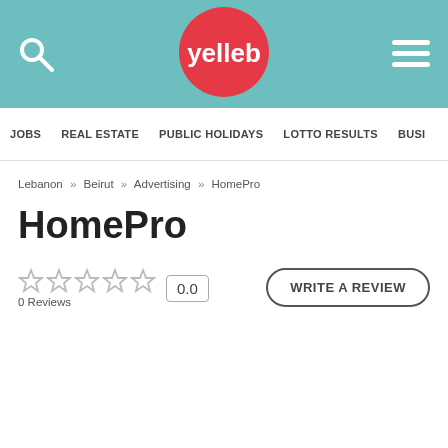yelleb
JOBS   REAL ESTATE   PUBLIC HOLIDAYS   LOTTO RESULTS   BUSI
Lebanon » Beirut » Advertising » HomePro
HomePro
☆☆☆☆☆  0.0  0 Reviews
WRITE A REVIEW